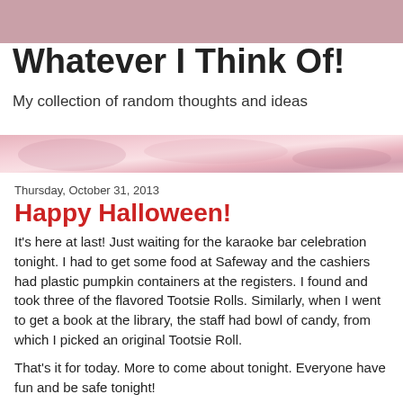Whatever I Think Of!
My collection of random thoughts and ideas
[Figure (illustration): Decorative header image strip with pink and rose watercolor tones]
Thursday, October 31, 2013
Happy Halloween!
It's here at last!  Just waiting for the karaoke bar celebration tonight.  I had to get some food at Safeway and the cashiers had plastic pumpkin containers at the registers.  I found and took three of the flavored Tootsie Rolls. Similarly, when I went to get a book at the library, the staff had bowl of candy, from which I picked an original Tootsie Roll.
That's it for today.  More to come about tonight.  Everyone have fun and be safe tonight!